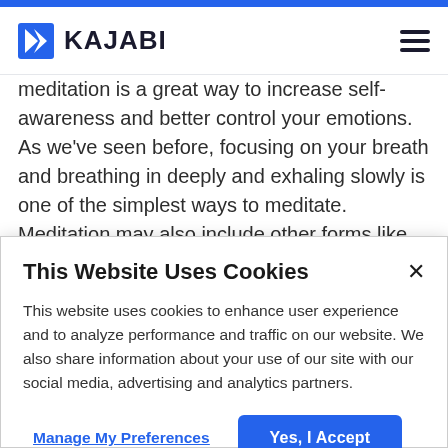KAJABI
meditation is a great way to increase self-awareness and better control your emotions. As we've seen before, focusing on your breath and breathing in deeply and exhaling slowly is one of the simplest ways to meditate. Meditation may also include other forms like guided imagery, yoga, and focused
This Website Uses Cookies
This website uses cookies to enhance user experience and to analyze performance and traffic on our website. We also share information about your use of our site with our social media, advertising and analytics partners.
Manage My Preferences
Yes, I Accept